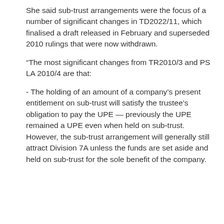She said sub-trust arrangements were the focus of a number of significant changes in TD2022/11, which finalised a draft released in February and superseded 2010 rulings that were now withdrawn.
“The most significant changes from TR2010/3 and PS LA 2010/4 are that:
- The holding of an amount of a company’s present entitlement on sub-trust will satisfy the trustee’s obligation to pay the UPE — previously the UPE remained a UPE even when held on sub-trust. However, the sub-trust arrangement will generally still attract Division 7A unless the funds are set aside and held on sub-trust for the sole benefit of the company.